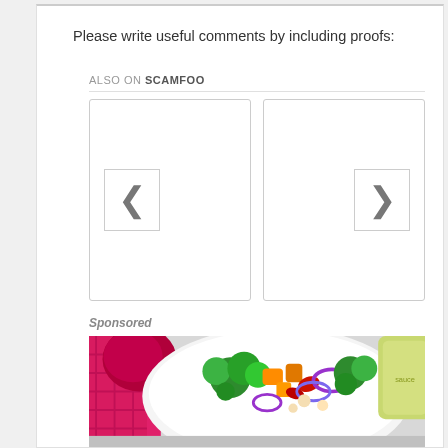Please write useful comments by including proofs:
ALSO ON SCAMFOO
[Figure (screenshot): Two empty card panels with left chevron arrow button on left card and right chevron arrow button on right card, forming a carousel widget]
Sponsored
[Figure (photo): Food photo showing a bowl of colorful salad with broccoli, orange vegetables, red onion, and other ingredients, with a pink/red cloth on the left and a sauce container on the right]